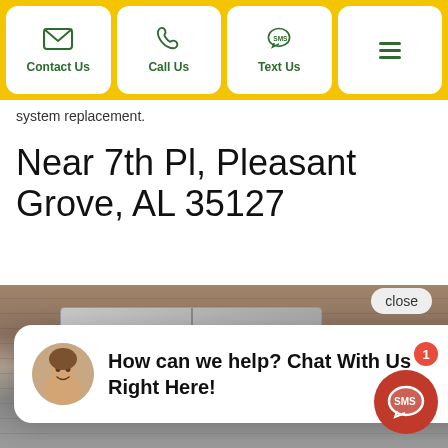Contact Us | Call Us | Text Us | Menu
system replacement.
Near 7th Pl, Pleasant Grove, AL 35127
[Figure (photo): HVAC / air conditioning unit installed outside a brick building]
[Figure (screenshot): Chat popup overlay: avatar of smiling woman, text 'How can we help? Chat With Us Right Here!' with close button. SMS floating button with badge count 1.]